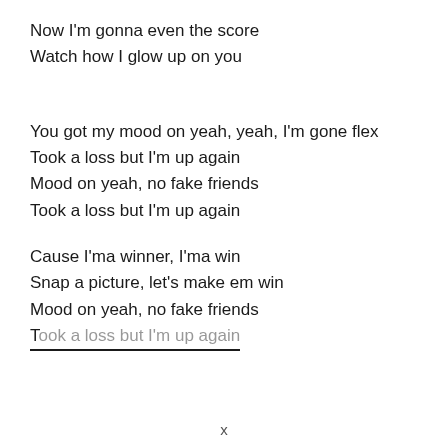Now I'm gonna even the score
Watch how I glow up on you
You got my mood on yeah, yeah, I'm gone flex
Took a loss but I'm up again
Mood on yeah, no fake friends
Took a loss but I'm up again
Cause I'ma winner, I'ma win
Snap a picture, let's make em win
Mood on yeah, no fake friends
Took a loss but I'm up again
x